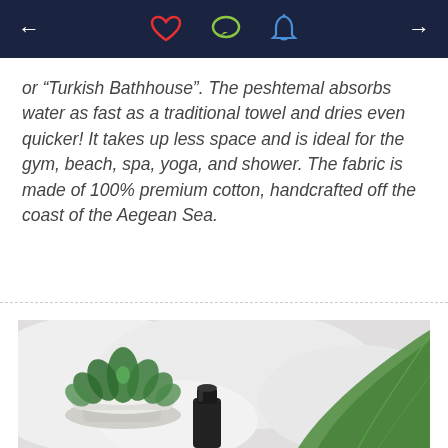Navigation bar with back arrow, heart icon, chat icon, bell icon, forward arrow
or "Turkish Bathhouse". The peshtemal absorbs water as fast as a traditional towel and dries even quicker! It takes up less space and is ideal for the gym, beach, spa, yoga, and shower. The fabric is made of 100% premium cotton, handcrafted off the coast of the Aegean Sea.
[Figure (photo): Flat lay photo showing a succulent plant in a white pot, a dark cylindrical bottle, and a large green leaf, all on a white fluffy fabric background.]